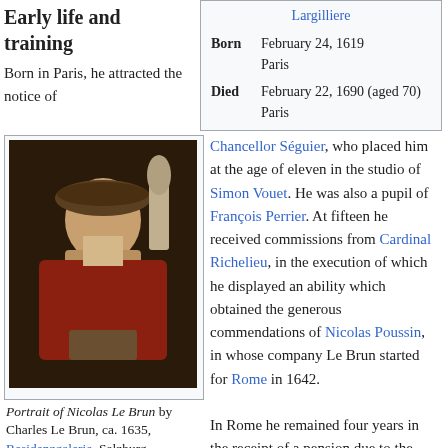Early life and training
| Largilliere |
| Born | February 24, 1619
Paris |
| Died | February 22, 1690 (aged 70)
Paris |
Born in Paris, he attracted the notice of
[Figure (photo): Portrait of Nicolas Le Brun by Charles Le Brun, ca. 1635, Residenzgalerie, Salzburg — painting showing a man in a wide-brimmed hat and red cloak with a small sculpture behind him]
Portrait of Nicolas Le Brun by Charles Le Brun, ca. 1635, Residenzgalerie, Salzburg
Chancellor Séguier, who placed him at the age of eleven in the studio of Simon Vouet. He was also a pupil of François Perrier. At fifteen he received commissions from Cardinal Richelieu, in the execution of which he displayed an ability which obtained the generous commendations of Nicolas Poussin, in whose company Le Brun started for Rome in 1642.

In Rome he remained four years in the receipt of a pension due to the
liberality of the chancellor. There he worked under
[Figure (photo): Partial view of a portrait painting showing reddish-brown hair]